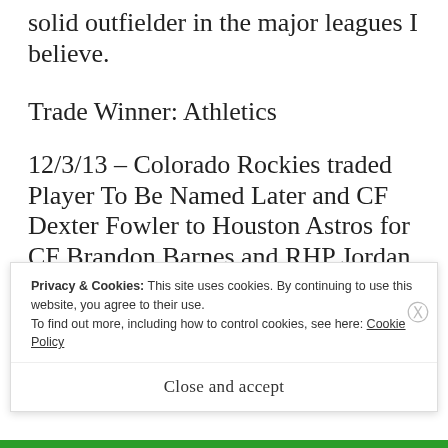solid outfielder in the major leagues I believe.
Trade Winner: Athletics
12/3/13 – Colorado Rockies traded Player To Be Named Later and CF Dexter Fowler to Houston Astros for CF Brandon Barnes and RHP Jordan Lyles.
Houston gets a good ball player in Fowler who I
Privacy & Cookies: This site uses cookies. By continuing to use this website, you agree to their use. To find out more, including how to control cookies, see here: Cookie Policy
Close and accept